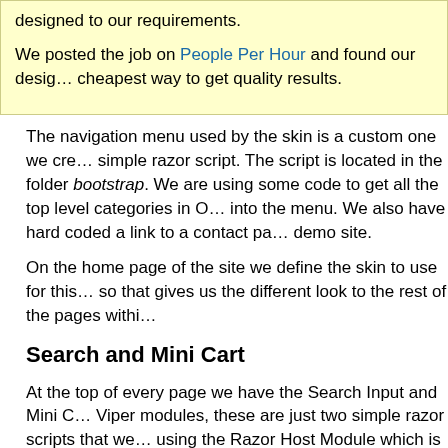designed to our requirements.

We posted the job on People Per Hour and found our designer, cheapest way to get quality results.
The navigation menu used by the skin is a custom one we created using a simple razor script. The script is located in the folder bootstrap. We are using some code to get all the top level categories in into the menu. We also have hard coded a link to a contact page on the demo site.
On the home page of the site we define the skin to use for this page, so that gives us the different look to the rest of the pages within
Search and Mini Cart
At the top of every page we have the Search Input and Mini Cart Viper modules, these are just two simple razor scripts that we using the Razor Host Module which is part of the standard DN
[Figure (screenshot): Dark grey box containing red italic bold text about two simple razor scripts providing search input and mini cart]